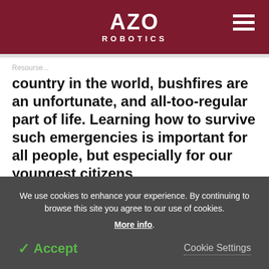AZO ROBOTICS
country in the world, bushfires are an unfortunate, and all-too-regular part of life. Learning how to survive such emergencies is important for all people, but especially for our youngest citizens
Now, a new virtual reality (VR) experience developed by the University of South Australia is educating
We use cookies to enhance your experience. By continuing to browse this site you agree to our use of cookies. More info.
✓ Accept
Cookie Settings